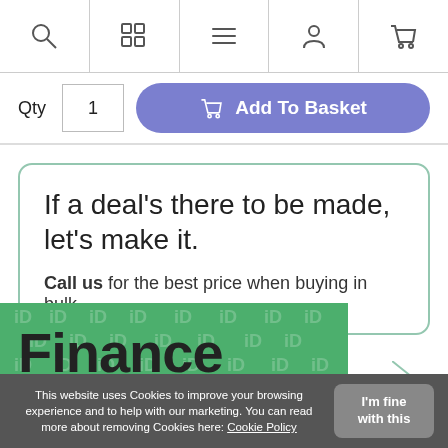Nav bar with search, grid, menu, account, cart icons
Qty 1  Add To Basket
If a deal's there to be made, let's make it.

Call us for the best price when buying in bulk
[Figure (infographic): Green Finance banner with iD watermark pattern and bold black Finance text]
This website uses Cookies to improve your browsing experience and to help with our marketing. You can read more about removing Cookies here: Cookie Policy  |  I'm fine with this